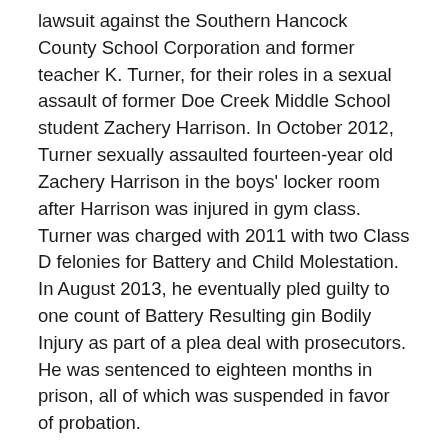lawsuit against the Southern Hancock County School Corporation and former teacher K. Turner, for their roles in a sexual assault of former Doe Creek Middle School student Zachery Harrison. In October 2012, Turner sexually assaulted fourteen-year old Zachery Harrison in the boys' locker room after Harrison was injured in gym class. Turner was charged with 2011 with two Class D felonies for Battery and Child Molestation. In August 2013, he eventually pled guilty to one count of Battery Resulting gin Bodily Injury as part of a plea deal with prosecutors. He was sentenced to eighteen months in prison, all of which was suspended in favor of probation.
Mario Massillamany commented on the civil suit which was filed today. “Schools have a sacred duty, not only to educate our children, but to protect them,” Massillamany said. He went on to add that this incident could have been